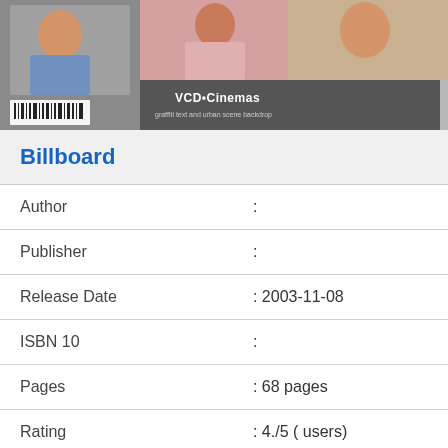[Figure (photo): Book cover image of Billboard magazine, showing multiple photos including a woman, and a street scene with graffiti text 'VCD Cinemas' visible. Also shows a barcode on the back cover.]
Billboard
| Author | : |
| Publisher | : |
| Release Date | : 2003-11-08 |
| ISBN 10 | : |
| Pages | : 68 pages |
| Rating | : 4./5 ( users) |
GET EBOOK!